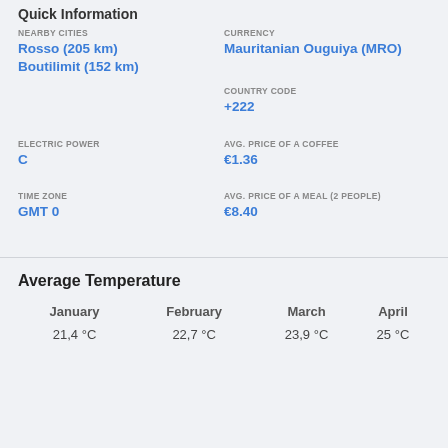Quick Information
NEARBY CITIES
Rosso (205 km)
Boutilimit (152 km)
CURRENCY
Mauritanian Ouguiya (MRO)
COUNTRY CODE
+222
ELECTRIC POWER
C
AVG. PRICE OF A COFFEE
€1.36
TIME ZONE
GMT 0
AVG. PRICE OF A MEAL (2 PEOPLE)
€8.40
Average Temperature
| January | February | March | April |
| --- | --- | --- | --- |
| 21,4 °C | 22,7 °C | 23,9 °C | 25 °C |